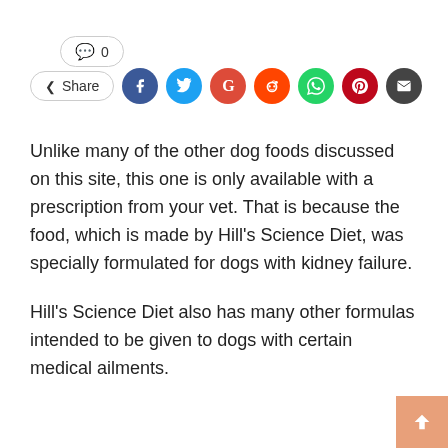[Figure (screenshot): Comment count button showing speech bubble icon and 0]
[Figure (screenshot): Share row with Share button and social media icons: Facebook, Twitter, Google+, Reddit, WhatsApp, Pinterest, Email]
Unlike many of the other dog foods discussed on this site, this one is only available with a prescription from your vet. That is because the food, which is made by Hill's Science Diet, was specially formulated for dogs with kidney failure.
Hill's Science Diet also has many other formulas intended to be given to dogs with certain medical ailments.